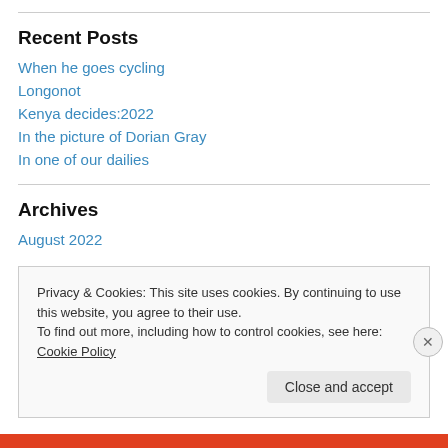Recent Posts
When he goes cycling
Longonot
Kenya decides:2022
In the picture of Dorian Gray
In one of our dailies
Archives
August 2022
Privacy & Cookies: This site uses cookies. By continuing to use this website, you agree to their use.
To find out more, including how to control cookies, see here: Cookie Policy
Close and accept